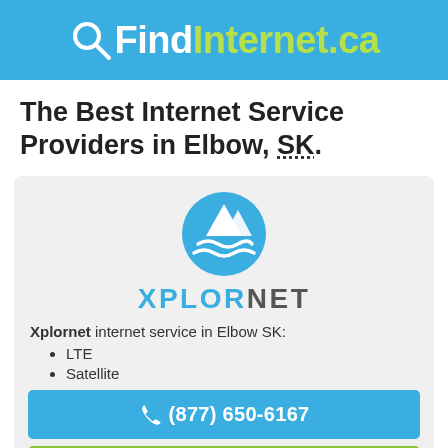QFindInternet.ca
The Best Internet Service Providers in Elbow, SK.
[Figure (logo): Xplornet logo: blue circular mountain/wave icon above the text XPLORNET in blue and gray]
Xplornet internet service in Elbow SK:
LTE
Satellite
(877) 650-6167
Free Online Quote